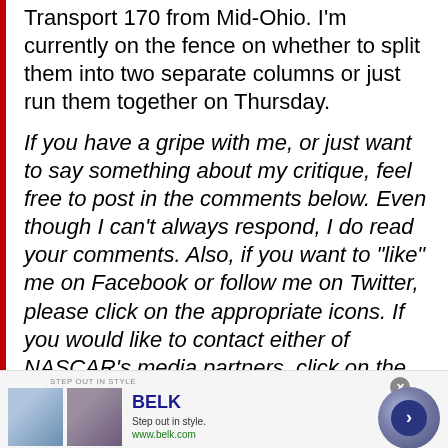Transport 170 from Mid-Ohio. I'm currently on the fence on whether to split them into two separate columns or just run them together on Thursday.
If you have a gripe with me, or just want to say something about my critique, feel free to post in the comments below. Even though I can't always respond, I do read your comments. Also, if you want to “like” me on Facebook or follow me on Twitter, please click on the appropriate icons. If you would like to contact either of NASCAR’s media partners, click on the appropriate link below.
[Figure (infographic): Advertisement banner for BELK. Shows 'STEP OUT IN STYLE' label, two product images, BELK brand name in blue, tagline 'Step out in style.' and URL 'www.belk.com', with a circular arrow navigation button.]